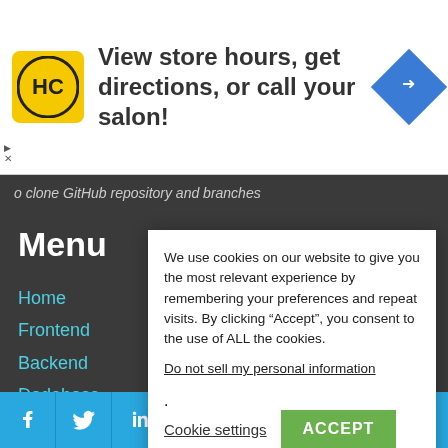[Figure (infographic): Advertisement banner with HC logo (yellow circle with HC letters), text 'View store hours, get directions, or call your salon!', and a blue diamond-shaped navigation icon. Small triangle and X dismiss buttons on the left.]
o clone GitHub repository and branches
Menu
Home
Frontend
Backend
Dadabase
Contact Us
We use cookies on our website to give you the most relevant experience by remembering your preferences and repeat visits. By clicking “Accept”, you consent to the use of ALL the cookies.

Do not sell my personal information.

Cookie settings   ACCEPT
[Figure (infographic): Social media icon bar with icons for Facebook, Twitter, LinkedIn, Pinterest, Instagram, WhatsApp, Reddit, and Blogger on a blue background.]